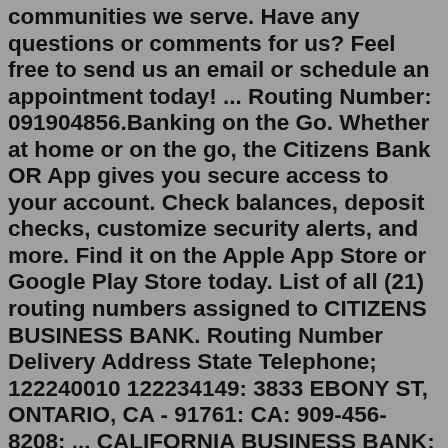communities we serve. Have any questions or comments for us? Feel free to send us an email or schedule an appointment today! ... Routing Number: 091904856.Banking on the Go. Whether at home or on the go, the Citizens Bank OR App gives you secure access to your account. Check balances, deposit checks, customize security alerts, and more. Find it on the Apple App Store or Google Play Store today. List of all (21) routing numbers assigned to CITIZENS BUSINESS BANK. Routing Number Delivery Address State Telephone; 122240010 122234149: 3833 EBONY ST, ONTARIO, CA - 91761: CA: 909-456-8208: ... CALIFORNIA BUSINESS BANK: CENTEX CITIZENS CREDIT UNION: CITIZENS & FARMERS BANK: CITIZENS & FARMERS BANK: CITIZENS & NORTHERN BANK: CITIZENS 1ST BANK:DE [info], 5/28/, RBS Citizens , N.A. [RBS CITIZENS , N.A.] 1 CITIZENS DRIVE RIVERSIDE, RI Find your Citizens Bank routing number by following these steps online, Go to